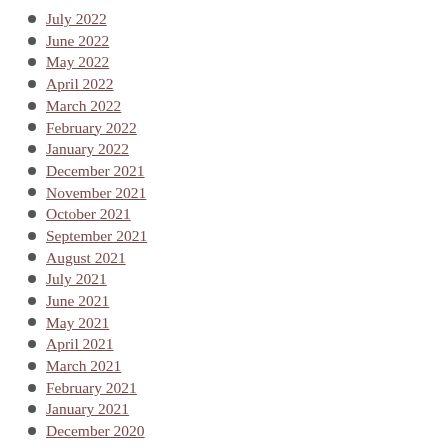July 2022
June 2022
May 2022
April 2022
March 2022
February 2022
January 2022
December 2021
November 2021
October 2021
September 2021
August 2021
July 2021
June 2021
May 2021
April 2021
March 2021
February 2021
January 2021
December 2020